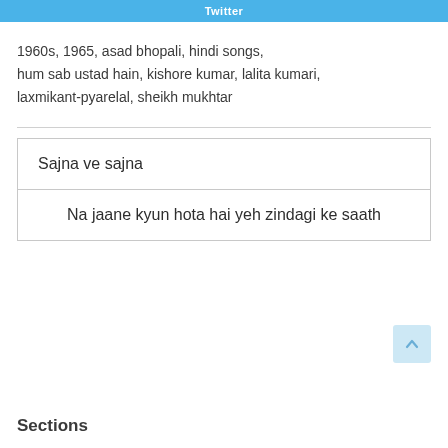Twitter
1960s, 1965, asad bhopali, hindi songs, hum sab ustad hain, kishore kumar, lalita kumari, laxmikant-pyarelal, sheikh mukhtar
Sajna ve sajna
Na jaane kyun hota hai yeh zindagi ke saath
Sections